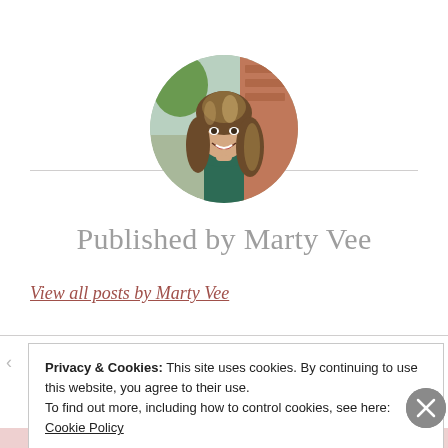[Figure (photo): Circular profile photo of a smiling woman with long brown highlighted hair, wearing a dark green top, posing against a brick background outdoors.]
Published by Marty Vee
View all posts by Marty Vee
Privacy & Cookies: This site uses cookies. By continuing to use this website, you agree to their use.
To find out more, including how to control cookies, see here:
Cookie Policy
Close and accept